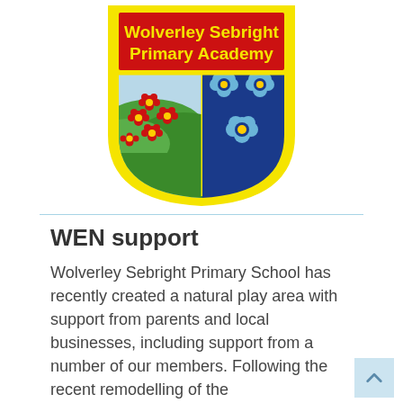[Figure (logo): Wolverley Sebright Primary Academy school crest/shield logo. Yellow shield border with red banner at top reading 'Wolverley Sebright Primary Academy' in yellow text. Left half of shield shows green rolling hills with red flowers on light blue background. Right half shows blue background with light blue forget-me-not flowers.]
WEN support
Wolverley Sebright Primary School has recently created a natural play area with support from parents and local businesses, including support from a number of our members. Following the recent remodelling of the